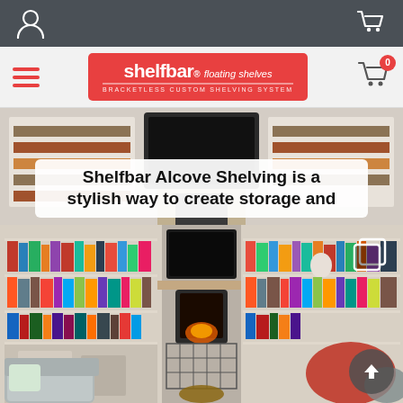[Figure (screenshot): Top dark navigation bar with user account icon on left and shopping cart icon on right, on a dark grey background.]
[Figure (logo): Shelfbar floating shelves logo - red rounded rectangle with white text reading 'shelfbar floating shelves' and 'bracketless custom shelving system' below, with hamburger menu on left and cart icon with 0 badge on right.]
Shelfbar Alcove Shelving is a stylish way to create storage and
[Figure (photo): Room interior showing alcove shelving units on both sides of a fireplace with a wood burning stove and TV above the mantel. Shelves are filled with books. Armchairs visible in corners with cushions.]